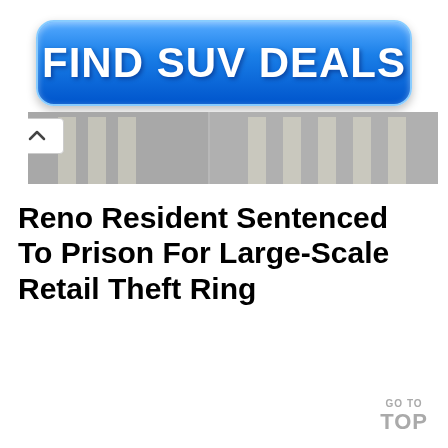[Figure (other): Blue gradient button advertisement reading FIND SUV DEALS in bold white text]
[Figure (photo): Partial photograph of a building with columns, with a white chevron/arrow-up button overlay on the left side]
Reno Resident Sentenced To Prison For Large-Scale Retail Theft Ring
GO TO TOP